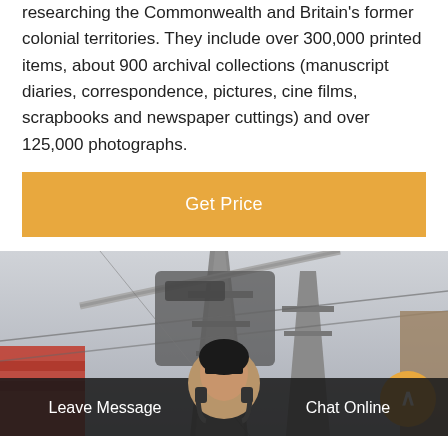researching the Commonwealth and Britain's former colonial territories. They include over 300,000 printed items, about 900 archival collections (manuscript diaries, correspondence, pictures, cine films, scrapbooks and newspaper cuttings) and over 125,000 photographs.
Get Price
[Figure (photo): Industrial photo showing power line towers, crane arm, and heavy machinery against a grey sky. Red/orange structure visible on left side. Scroll-to-top button visible bottom right.]
Leave Message    Chat Online